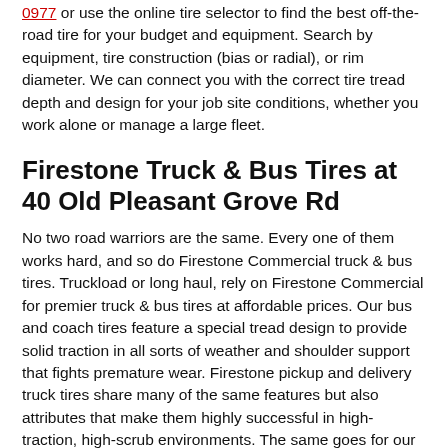0977 or use the online tire selector to find the best off-the-road tire for your budget and equipment. Search by equipment, tire construction (bias or radial), or rim diameter. We can connect you with the correct tire tread depth and design for your job site conditions, whether you work alone or manage a large fleet.
Firestone Truck & Bus Tires at 40 Old Pleasant Grove Rd
No two road warriors are the same. Every one of them works hard, and so do Firestone Commercial truck & bus tires. Truckload or long haul, rely on Firestone Commercial for premier truck & bus tires at affordable prices. Our bus and coach tires feature a special tread design to provide solid traction in all sorts of weather and shoulder support that fights premature wear. Firestone pickup and delivery truck tires share many of the same features but also attributes that make them highly successful in high-traction, high-scrub environments. The same goes for our selection of truckload and less-than-truckload tires. Special construction features, like cross-rib sipes, tie bars, and steel belts, help prevent irregular wear patterns and enhance traction.